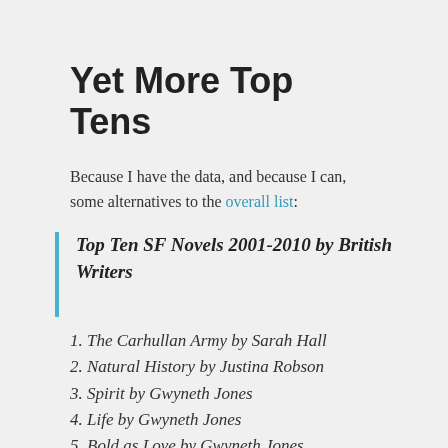Yet More Top Tens
Because I have the data, and because I can, some alternatives to the overall list:
Top Ten SF Novels 2001-2010 by British Writers
1. The Carhullan Army by Sarah Hall
2. Natural History by Justina Robson
3. Spirit by Gwyneth Jones
4. Life by Gwyneth Jones
5. Bold as Love by Gwyneth Jones
6. City of Pearl by Karen Travis...